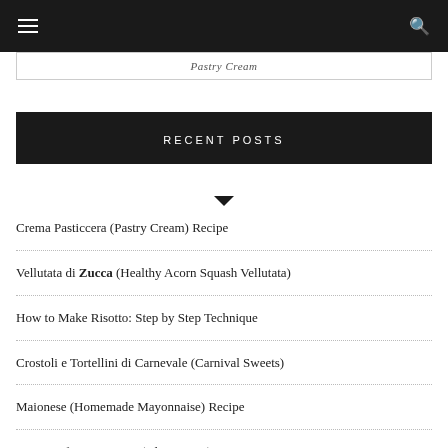Navigation bar with hamburger menu and search icon
Pastry Cream
RECENT POSTS
Crema Pasticcera (Pastry Cream) Recipe
Vellutata di Zucca (Healthy Acorn Squash Vellutata)
How to Make Risotto: Step by Step Technique
Crostoli e Tortellini di Carnevale (Carnival Sweets)
Maionese (Homemade Mayonnaise) Recipe
Easy Beef Stew Recipe (Gluten Free)
Pesce in Crosta di Sale (Salt Crusted Fish)